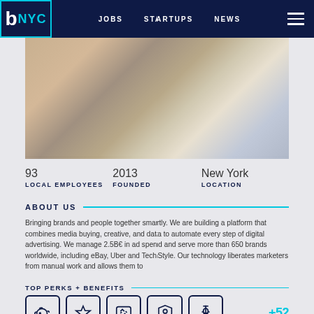b NYC  JOBS  STARTUPS  NEWS
[Figure (photo): Two people working at a table with laptops and a coffee mug]
93
LOCAL EMPLOYEES
2013
FOUNDED
New York
LOCATION
ABOUT US
Bringing brands and people together smartly. We are building a platform that combines media buying, creative, and data to automate every step of digital advertising. We manage 2.5B€ in ad spend and serve more than 650 brands worldwide, including eBay, Uber and TechStyle. Our technology liberates marketers from manual work and allows them to
TOP PERKS + BENEFITS
[Figure (infographic): Five perk icons: piggy bank, star, code/chat bubble, shield with person, caduceus medical symbol. Plus +52 count.]